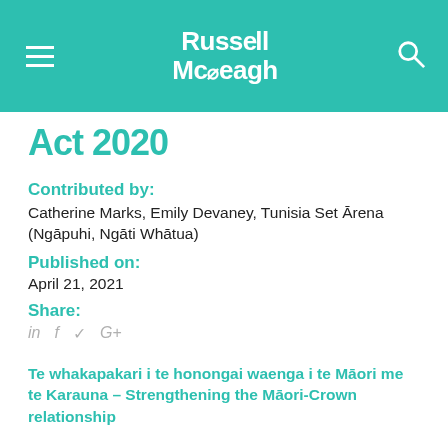Russell McVeagh
Act 2020
Contributed by:
Catherine Marks, Emily Devaney, Tunisia Set Ārena (Ngāpuhi, Ngāti Whātua)
Published on:
April 21, 2021
Share:
in f ✓ G+
Te whakapakari i te honongai waenga i te Māori me te Karauna – Strengthening the Māori-Crown relationship